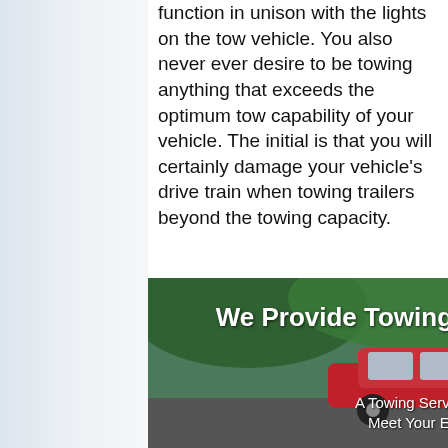function in unison with the lights on the tow vehicle. You also never ever desire to be towing anything that exceeds the optimum tow capability of your vehicle. The initial is that you will certainly damage your vehicle's drive train when towing trailers beyond the towing capacity.
[Figure (photo): A tow truck and red car scene with overlay text reading 'We Provide Towing Services For You' and subtitle 'A Towing Service That Will Meet Your Every Need'. A green phone button is visible in the bottom right corner.]